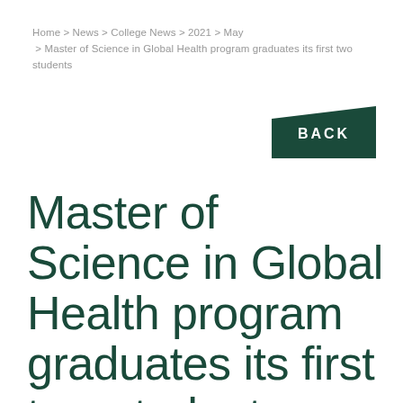Home > News > College News > 2021 > May > Master of Science in Global Health program graduates its first two students
[Figure (other): Dark green trapezoid-shaped BACK button]
Master of Science in Global Health program graduates its first two students